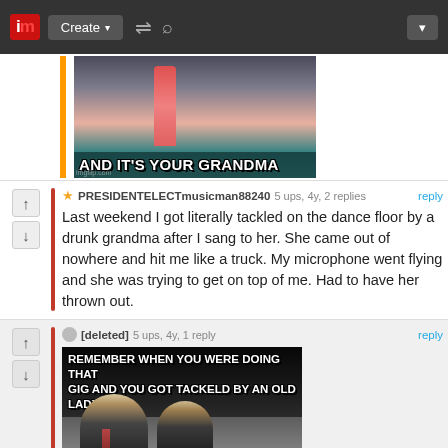im | Create | [shuffle] [search] | [dropdown]
[Figure (photo): Meme image showing a person licking a popsicle with caption AND IT'S YOUR GRANDMA]
PRESIDENTELECTmusicman88240   5 ups, 4y, 2 replies   reply
Last weekend I got literally tackled on the dance floor by a drunk grandma after I sang to her. She came out of nowhere and hit me like a truck. My microphone went flying and she was trying to get on top of me. Had to have her thrown out.
[deleted]   5 ups, 4y, 1 reply   reply
[Figure (photo): Meme image with two men laughing with caption: REMEMBER WHEN YOU WERE DOING THAT GIG AND YOU GOT TACKELD BY AN OLD LADY?]